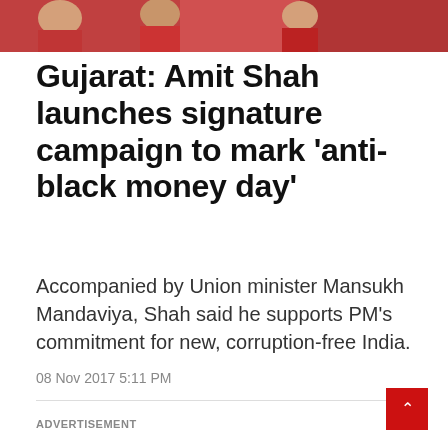[Figure (photo): Top portion of a news article showing people in red clothing, cropped at top of page]
Gujarat: Amit Shah launches signature campaign to mark 'anti-black money day'
Accompanied by Union minister Mansukh Mandaviya, Shah said he supports PM's commitment for new, corruption-free India.
08 Nov 2017 5:11 PM
ADVERTISEMENT